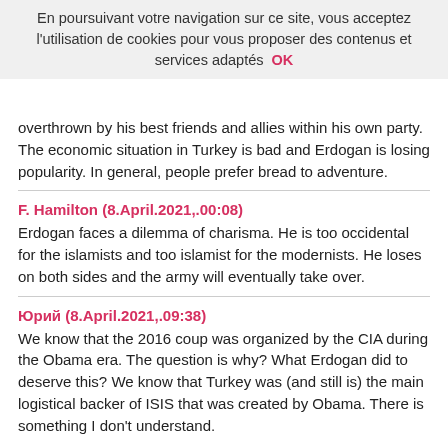En poursuivant votre navigation sur ce site, vous acceptez l'utilisation de cookies pour vous proposer des contenus et services adaptés  OK
overthrown by his best friends and allies within his own party. The economic situation in Turkey is bad and Erdogan is losing popularity. In general, people prefer bread to adventure.
F. Hamilton (8.April.2021,.00:08)
Erdogan faces a dilemma of charisma. He is too occidental for the islamists and too islamist for the modernists. He loses on both sides and the army will eventually take over.
Юрий (8.April.2021,.09:38)
We know that the 2016 coup was organized by the CIA during the Obama era. The question is why? What Erdogan did to deserve this? We know that Turkey was (and still is) the main logistical backer of ISIS that was created by Obama. There is something I don't understand.
Any message or comments?